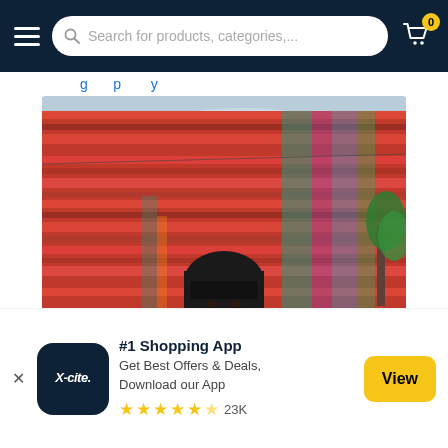Search for products, categories,...
g p y
[Figure (photo): A model with a black bob haircut standing in front of a colorful red striped fabric hanging outdoors, with a cloudy sky and trees in the background.]
#1 Shopping App Get Best Offers & Deals, Download our App ★★★★½ 23K
View